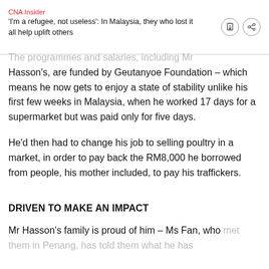CNA Insider
'I'm a refugee, not useless': In Malaysia, they who lost it all help uplift others
The programmes and salaries, including Mr Hasson's, are funded by Geutanyoe Foundation – which means he now gets to enjoy a state of stability unlike his first few weeks in Malaysia, when he worked 17 days for a supermarket but was paid only for five days.
He'd then had to change his job to selling poultry in a market, in order to pay back the RM8,000 he borrowed from people, his mother included, to pay his traffickers.
DRIVEN TO MAKE AN IMPACT
Mr Hasson's family is proud of him – Ms Fan, who met them in Penang, has told them what he has...